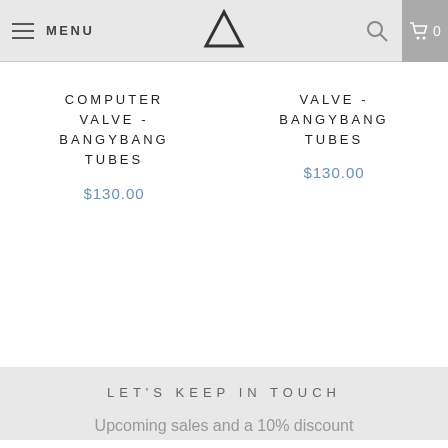MENU
COMPUTER VALVE - BANGYBANG TUBES
$130.00
VALVE - BANGYBANG TUBES
$130.00
LET'S KEEP IN TOUCH
Upcoming sales and a 10% discount on your first order.
Enter your email address...
SIGN UP